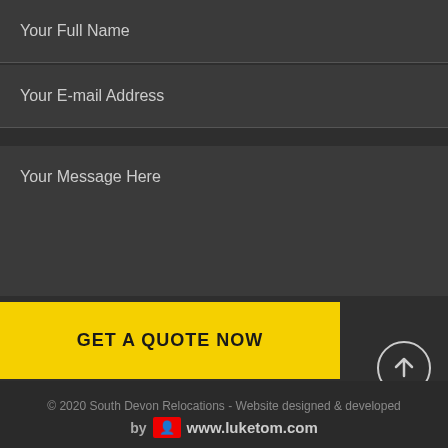Your Full Name
Your E-mail Address
Your Message Here
GET A QUOTE NOW
[Figure (other): Scroll-to-top button: circle with upward arrow]
© 2020 South Devon Relocations - Website designed & developed by www.luketom.com